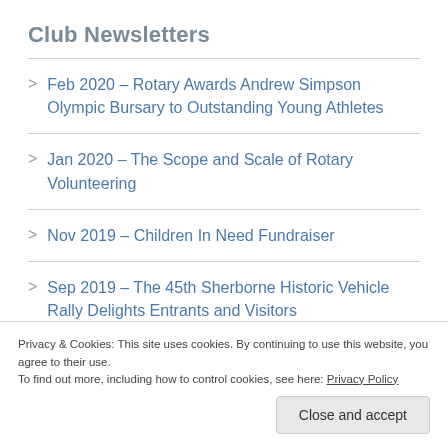Club Newsletters
Feb 2020 – Rotary Awards Andrew Simpson Olympic Bursary to Outstanding Young Athletes
Jan 2020 – The Scope and Scale of Rotary Volunteering
Nov 2019 – Children In Need Fundraiser
Sep 2019 – The 45th Sherborne Historic Vehicle Rally Delights Entrants and Visitors
Privacy & Cookies: This site uses cookies. By continuing to use this website, you agree to their use.
To find out more, including how to control cookies, see here: Privacy Policy
Close and accept